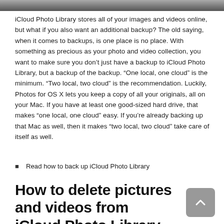[Figure (photo): Partial photo strip at the top of the page, showing a dark/grey image cropped to a thin strip]
iCloud Photo Library stores all of your images and videos online, but what if you also want an additional backup? The old saying, when it comes to backups, is one place is no place. With something as precious as your photo and video collection, you want to make sure you don't just have a backup to iCloud Photo Library, but a backup of the backup. “One local, one cloud” is the minimum. “Two local, two cloud” is the recommendation. Luckily, Photos for OS X lets you keep a copy of all your originals, all on your Mac. If you have at least one good-sized hard drive, that makes “one local, one cloud” easy. If you’re already backing up that Mac as well, then it makes “two local, two cloud” take care of itself as well.
Read how to back up iCloud Photo Library
How to delete pictures and videos from iCloud Photo Library